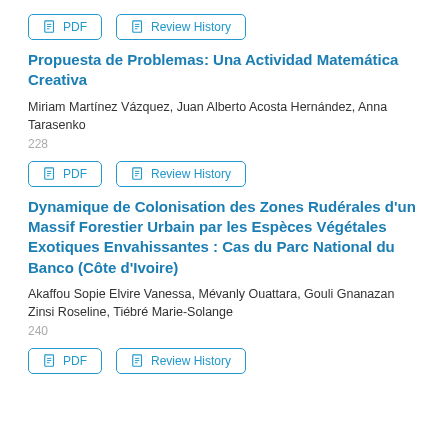[Figure (other): PDF and Review History buttons (top row)]
Propuesta de Problemas: Una Actividad Matemática Creativa
Miriam Martínez Vázquez, Juan Alberto Acosta Hernández, Anna Tarasenko
228
[Figure (other): PDF and Review History buttons (second row)]
Dynamique de Colonisation des Zones Rudérales d'un Massif Forestier Urbain par les Espèces Végétales Exotiques Envahissantes : Cas du Parc National du Banco (Côte d'Ivoire)
Akaffou Sopie Elvire Vanessa, Mévanly Ouattara, Gouli Gnanazan Zinsi Roseline, Tiébré Marie-Solange
240
[Figure (other): PDF and Review History buttons (third row)]